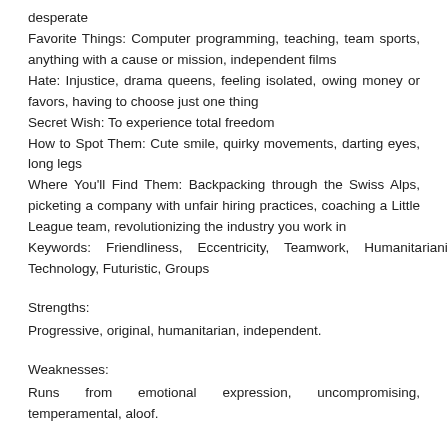desperate
Favorite Things: Computer programming, teaching, team sports, anything with a cause or mission, independent films
Hate: Injustice, drama queens, feeling isolated, owing money or favors, having to choose just one thing
Secret Wish: To experience total freedom
How to Spot Them: Cute smile, quirky movements, darting eyes, long legs
Where You'll Find Them: Backpacking through the Swiss Alps, picketing a company with unfair hiring practices, coaching a Little League team, revolutionizing the industry you work in
Keywords: Friendliness, Eccentricity, Teamwork, Humanitarianism, Technology, Futuristic, Groups
Strengths:
Progressive, original, humanitarian, independent.
Weaknesses:
Runs from emotional expression, uncompromising, temperamental, aloof.